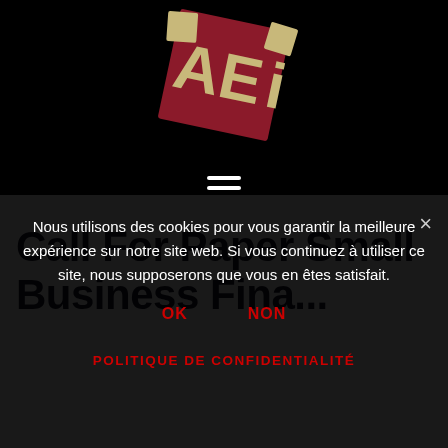[Figure (logo): AEI logo — stylized letters A, E, I on a dark red/crimson square background with beige/cream colored letterforms, rotated slightly clockwise]
[Figure (other): Hamburger menu icon — three horizontal white lines stacked vertically, centered]
Call For Paper Small Business Financing
Nous utilisons des cookies pour vous garantir la meilleure expérience sur notre site web. Si vous continuez à utiliser ce site, nous supposerons que vous en êtes satisfait.
OK
NON
×
POLITIQUE DE CONFIDENTIALITÉ